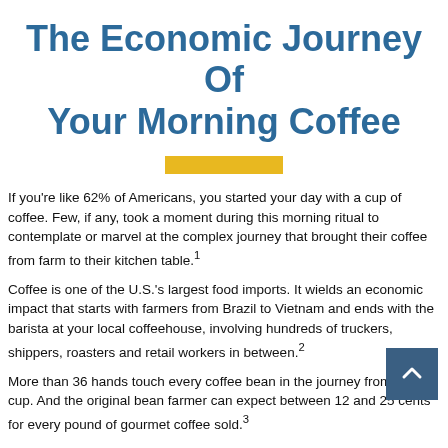The Economic Journey Of Your Morning Coffee
[Figure (other): A horizontal gold/yellow decorative bar used as a section divider]
If you're like 62% of Americans, you started your day with a cup of coffee. Few, if any, took a moment during this morning ritual to contemplate or marvel at the complex journey that brought their coffee from farm to their kitchen table.1
Coffee is one of the U.S.'s largest food imports. It wields an economic impact that starts with farmers from Brazil to Vietnam and ends with the barista at your local coffeehouse, involving hundreds of truckers, shippers, roasters and retail workers in between.2
More than 36 hands touch every coffee bean in the journey from farm to cup. And the original bean farmer can expect between 12 and 25 cents for every pound of gourmet coffee sold.3